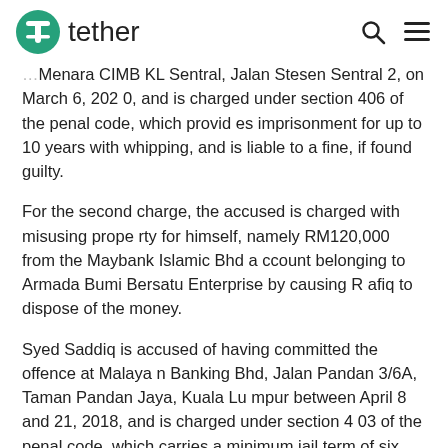tether
Menara CIMB KL Sentral, Jalan Stesen Sentral 2, on March 6, 2020, and is charged under section 406 of the penal code, which provides imprisonment for up to 10 years with whipping, and is liable to a fine, if found guilty.
For the second charge, the accused is charged with misusing property for himself, namely RM120,000 from the Maybank Islamic Bhd account belonging to Armada Bumi Bersatu Enterprise by causing Rafiq to dispose of the money.
Syed Saddiq is accused of having committed the offence at Malayan Banking Bhd, Jalan Pandan 3/6A, Taman Pandan Jaya, Kuala Lumpur between April 8 and 21, 2018, and is charged under section 403 of the penal code, which carries a minimum jail term of six months and a maximum of five years with whipping and is punishable by a fine, if convicted.